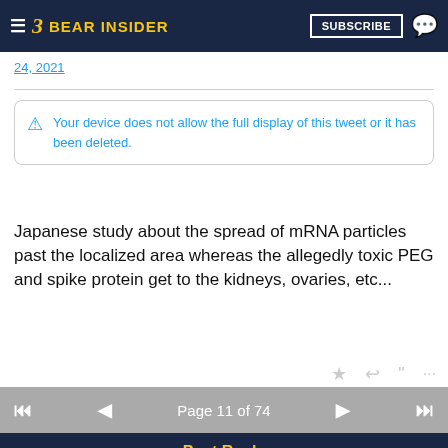BEAR INSIDER | SUBSCRIBE
24, 2021
Your device does not allow the full display of this tweet or it has been deleted.
Japanese study about the spread of mRNA particles past the localized area whereas the allegedly toxic PEG and spike protein get to the kidneys, ovaries, etc...
Page 11 of 74
Post Reply
Forums  Off Topic